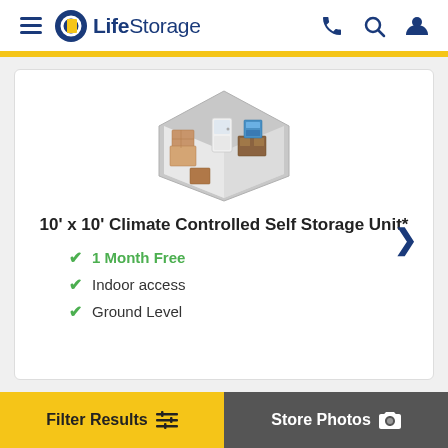LifeStorage
[Figure (illustration): Isometric illustration of a 10x10 storage unit interior with boxes, appliances, and furniture on a hexagonal platform]
10' x 10' Climate Controlled Self Storage Unit*
1 Month Free
Indoor access
Ground Level
Filter Results | Store Photos